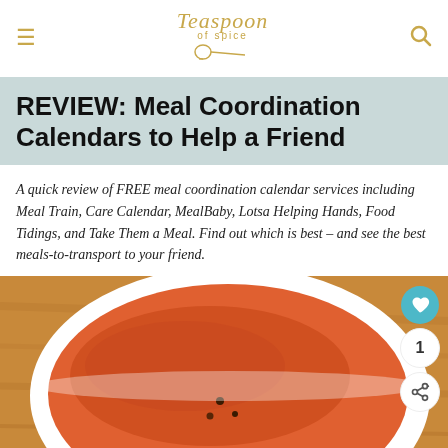Teaspoon of Spice
REVIEW: Meal Coordination Calendars to Help a Friend
A quick review of FREE meal coordination calendar services including Meal Train, Care Calendar, MealBaby, Lotsa Helping Hands, Food Tidings, and Take Them a Meal. Find out which is best – and see the best meals-to-transport to your friend.
[Figure (photo): Close-up photo of an orange/tomato soup in a white bowl on a wooden surface, with action buttons (heart, count 1, share) overlaid on the right side.]